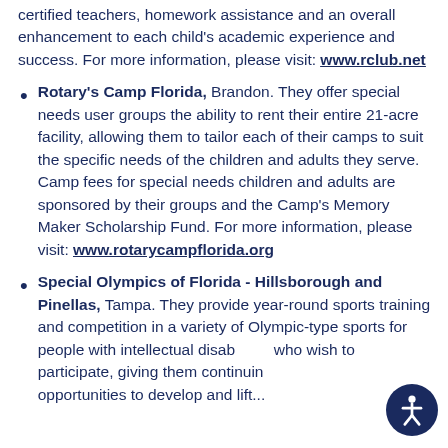certified teachers, homework assistance and an overall enhancement to each child's academic experience and success. For more information, please visit: www.rclub.net
Rotary's Camp Florida, Brandon. They offer special needs user groups the ability to rent their entire 21-acre facility, allowing them to tailor each of their camps to suit the specific needs of the children and adults they serve. Camp fees for special needs children and adults are sponsored by their groups and the Camp's Memory Maker Scholarship Fund. For more information, please visit: www.rotarycampflorida.org
Special Olympics of Florida - Hillsborough and Pinellas, Tampa. They provide year-round sports training and competition in a variety of Olympic-type sports for people with intellectual disabilities who wish to participate, giving them continuing opportunities to develop and lift...